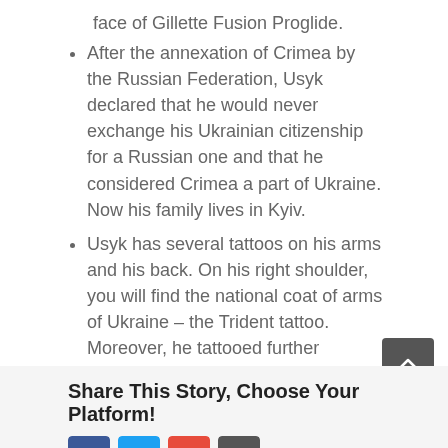face of Gillette Fusion Proglide.
After the annexation of Crimea by the Russian Federation, Usyk declared that he would never exchange his Ukrainian citizenship for a Russian one and that he considered Crimea a part of Ukraine. Now his family lives in Kyiv.
Usyk has several tattoos on his arms and his back. On his right shoulder, you will find the national coat of arms of Ukraine – the Trident tattoo. Moreover, he tattooed further Ukrainian symbolic like Churches and monuments below the trident.
Categories: Liza, Sport | Tags: my favourite sportsman, sport | 0 Comments
Share This Story, Choose Your Platform!